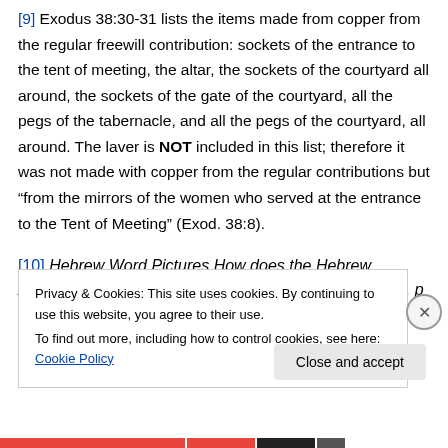[9] Exodus 38:30-31 lists the items made from copper from the regular freewill contribution: sockets of the entrance to the tent of meeting, the altar, the sockets of the courtyard all around, the sockets of the gate of the courtyard, all the pegs of the tabernacle, and all the pegs of the courtyard, all around. The laver is NOT included in this list; therefore it was not made with copper from the regular contributions but “from the mirrors of the women who served at the entrance to the Tent of Meeting” (Exod. 38:8).
[10] Hebrew Word Pictures How does the Hebrew Alphabet Reveal Prophetic Truths, by Frank T. Seekins, p
Privacy & Cookies: This site uses cookies. By continuing to use this website, you agree to their use. To find out more, including how to control cookies, see here: Cookie Policy